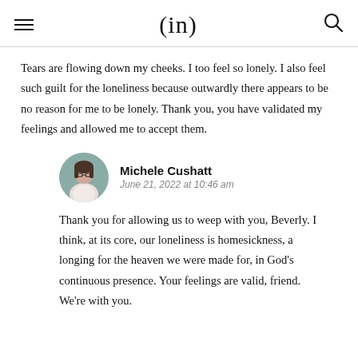(in)
Tears are flowing down my cheeks. I too feel so lonely. I also feel such guilt for the loneliness because outwardly there appears to be no reason for me to be lonely. Thank you, you have validated my feelings and allowed me to accept them.
Michele Cushatt
June 21, 2022 at 10:46 am
Thank you for allowing us to weep with you, Beverly. I think, at its core, our loneliness is homesickness, a longing for the heaven we were made for, in God's continuous presence. Your feelings are valid, friend. We're with you.